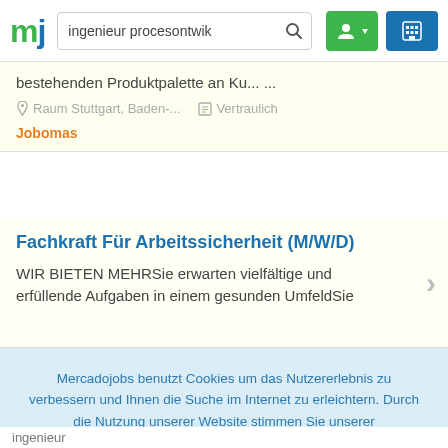[Figure (screenshot): Mercadojobs website header with logo 'mj', search bar showing 'ingenieur procesontwik' with search icon, green user button with dropdown arrow, blue company/building button]
bestehenden Produktpalette an Ku... ...
Raum Stuttgart, Baden-...   Vertraulich
Jobomas
Fachkraft Für Arbeitssicherheit (M/W/D)
WIR BIETEN MEHRSie erwarten vielfältige und erfüllende Aufgaben in einem gesunden UmfeldSie
Mercadojobs benutzt Cookies um das Nutzererlebnis zu verbessern und Ihnen die Suche im Internet zu erleichtern. Durch die Nutzung unserer Website stimmen Sie unserer Datenschutzerklärung zu und akzeptieren die Nutzung von Cookies
akzeptieren
ingenieur